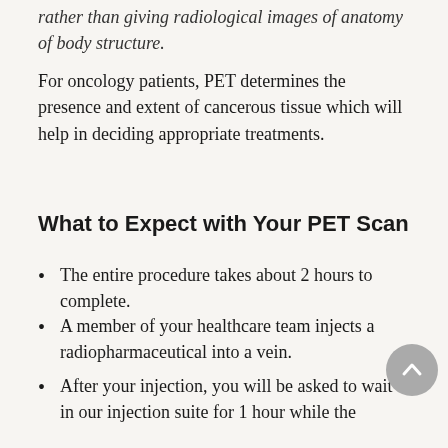rather than giving radiological images of anatomy of body structure.
For oncology patients, PET determines the presence and extent of cancerous tissue which will help in deciding appropriate treatments.
What to Expect with Your PET Scan
The entire procedure takes about 2 hours to complete.
A member of your healthcare team injects a radiopharmaceutical into a vein.
After your injection, you will be asked to wait in our injection suite for 1 hour while the radiopharmaceutical distributes. During this time you will be asked to relax.
During the exam you will lie on a narrow, padded table that moves slowly into the part of the scanner that looks like a doughnut hole. During the scan you must be very